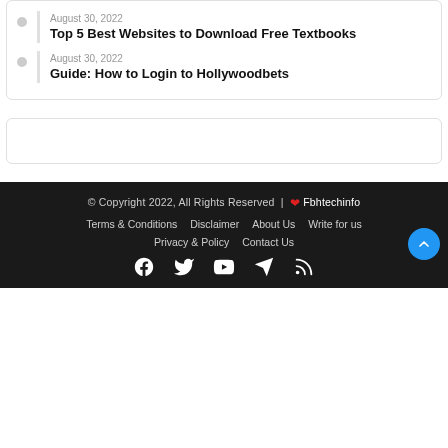Top 5 Best Websites to Download Free Textbooks
Guide: How to Login to Hollywoodbets
© Copyright 2022, All Rights Reserved | ❤ Fbhtechinfo
Terms & Conditions  Disclaimer  About Us  Write for us
Privacy & Policy  Contact Us